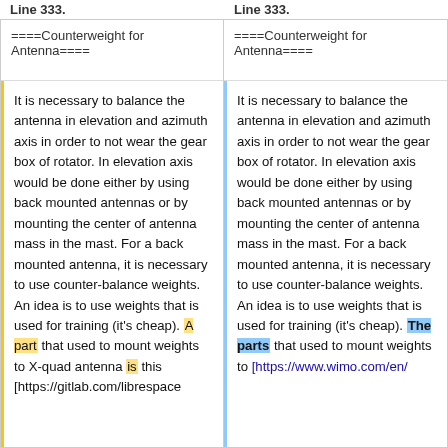Line 333. (left column)   Line 333. (right column)
====Counterweight for Antenna====
====Counterweight for Antenna====
It is necessary to balance the antenna in elevation and azimuth axis in order to not wear the gear box of rotator. In elevation axis would be done either by using back mounted antennas or by mounting the center of antenna mass in the mast. For a back mounted antenna, it is necessary to use counter-balance weights. An idea is to use weights that is used for training (it's cheap). A part that used to mount weights to X-quad antenna is this [https://gitlab.com/librespace
It is necessary to balance the antenna in elevation and azimuth axis in order to not wear the gear box of rotator. In elevation axis would be done either by using back mounted antennas or by mounting the center of antenna mass in the mast. For a back mounted antenna, it is necessary to use counter-balance weights. An idea is to use weights that is used for training (it's cheap). The parts that used to mount weights to [https://www.wimo.com/en/